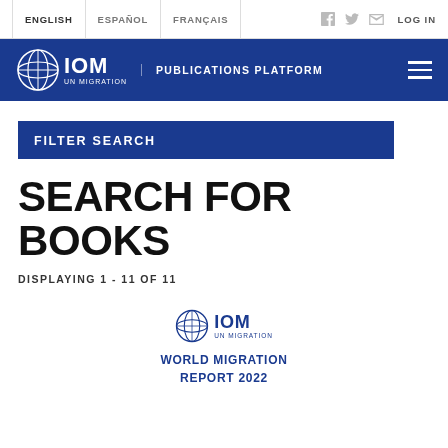ENGLISH  ESPAÑOL  FRANÇAIS  LOG IN
IOM UN MIGRATION  PUBLICATIONS PLATFORM
FILTER SEARCH
SEARCH FOR BOOKS
DISPLAYING 1 - 11 OF 11
[Figure (logo): IOM UN MIGRATION globe logo with text]
WORLD MIGRATION REPORT 2022